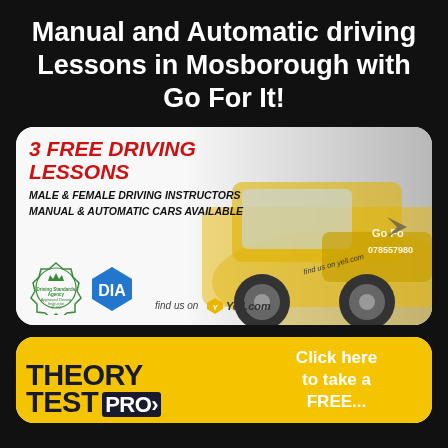Manual and Automatic driving Lessons in Mosborough with Go For It!
[Figure (photo): Advertisement card for Go For It driving school: shows a yellow Citroen DS3 car with text '3 FREE DRIVING LESSONS', 'MALE & FEMALE DRIVING INSTRUCTORS', 'MANUAL & AUTOMATIC CARS AVAILABLE', DSA Approved Driving Instructor badge, DIA badge, and 'find us on Yell.com' logo]
[Figure (photo): Partial advertisement for Theory Test Pro with yellow background showing 'THEORY TEST PRO' logo on left and 'Click here to take a FREE...' text on right]